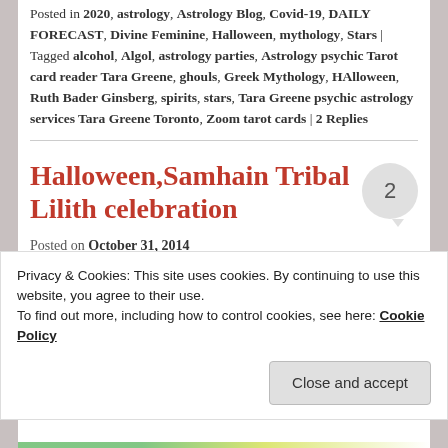Posted in 2020, astrology, Astrology Blog, Covid-19, DAILY FORECAST, Divine Feminine, Halloween, mythology, Stars | Tagged alcohol, Algol, astrology parties, Astrology psychic Tarot card reader Tara Greene, ghouls, Greek Mythology, HAlloween, Ruth Bader Ginsberg, spirits, stars, Tara Greene psychic astrology services Tara Greene Toronto, Zoom tarot cards | 2 Replies
Halloween,Samhain Tribal Lilith celebration
Posted on October 31, 2014
Privacy & Cookies: This site uses cookies. By continuing to use this website, you agree to their use. To find out more, including how to control cookies, see here: Cookie Policy